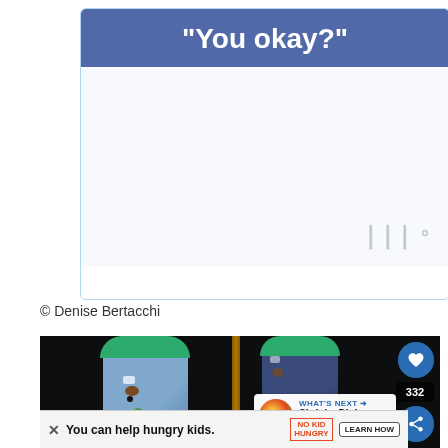[Figure (screenshot): Social media card with blue header containing text 'You okay?' in white bold font, card has light blue border, gray body area with watermark symbol in bottom right corner]
© Denise Bertacchi
[Figure (photo): Photo of two cylindrical craft containers with green caps against dark background. Left container is blue/light purple with decorative stickers. Right container is dark blue/purple. An amber glow is visible between them. Overlay shows a heart like button, share count of 332, share button, and a 'What's Next' card thumbnail for 'Shrinky Dink Crafts You...']
[Figure (screenshot): Ad banner at bottom: 'You can help hungry kids.' with No Kid Hungry logo and 'LEARN HOW' button]